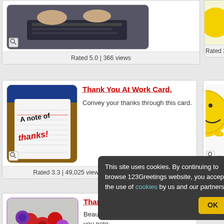[Figure (photo): Partial top section showing laptop/keyboard image with rating]
Rated 5.0 | 366 views
[Figure (photo): Partial right column with smiley character, rating 3.9 | 12,4...]
Rated 3.9 | 12,4...
[Figure (illustration): Notepad with 'A note of thanks!' written on it]
Thank You At Work Card.
Convey your thanks through this card.
Rated 3.3 | 49,025 views | Liked by 100% Users
[Figure (illustration): Yellow smiley face character giving thumbs up]
Rated 3.8 | 22,9...
[Figure (photo): Bouquet of flowers in a vase]
Thank You Note...
Beautiful bouquet and a... you note.
Rated 4.2 | 14,744 views | Liked by 100% Users
This site uses cookies. By continuing to browse 123Greetings website, you accept the use of cookies by us and our partners.